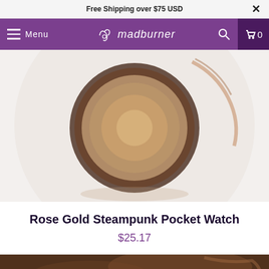Free Shipping over $75 USD
Menu  madburner  0
[Figure (photo): Blurred close-up photo of a rose gold steampunk pocket watch viewed from above, showing the watch face with ornate gear details]
Rose Gold Steampunk Pocket Watch
$25.17
[Figure (photo): Partially visible blurred photo of the steampunk pocket watch from another angle, showing rose gold metal details]